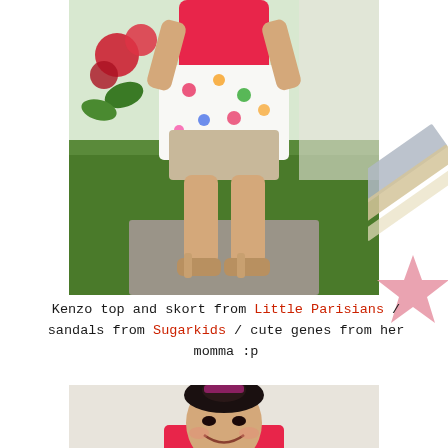[Figure (photo): Young girl standing outdoors wearing a pink top and floral skort, with gold sandals, in front of green grass and red flowers. Photo is cropped from torso down.]
Kenzo top and skort from Little Parisians / sandals from Sugarkids / cute genes from her momma :p
[Figure (photo): Young Asian girl smiling, wearing a pink top, with hair tied up, photographed from the shoulders up.]